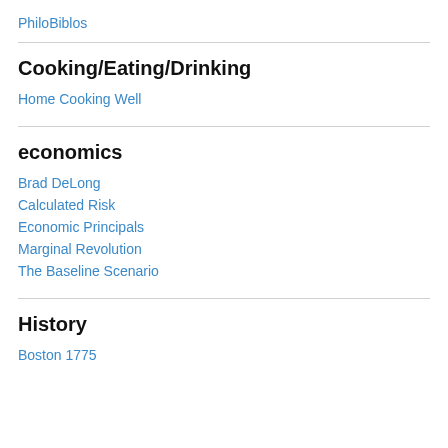PhiloBiblos
Cooking/Eating/Drinking
Home Cooking Well
economics
Brad DeLong
Calculated Risk
Economic Principals
Marginal Revolution
The Baseline Scenario
History
Boston 1775